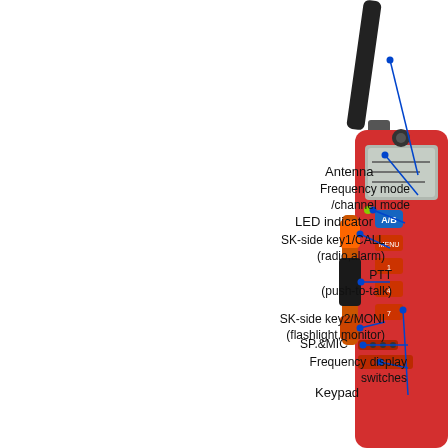[Figure (schematic): Annotated diagram of a red handheld walkie-talkie radio with labeled parts: Antenna, Frequency mode/channel mode, LED indicator, SK-side key1/CALL (radio,alarm), PTT (push-to-talk), SK-side key2/MONI (flashlight,monitor), SP.&MIC, Frequency display switches, Keypad]
Antenna
Frequency mode /channel mode
LED indicator
SK-side key1/CALL (radio,alarm)
PTT (push-to-talk)
SK-side key2/MONI (flashlight,monitor)
SP.&MIC
Frequency display switches
Keypad